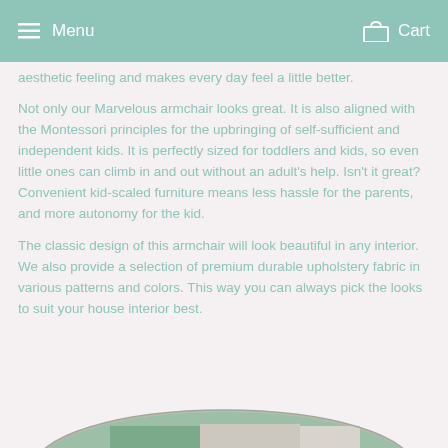Menu   Cart
aesthetic feeling and makes every day feel a little better.
Not only our Marvelous armchair looks great. It is also aligned with the Montessori principles for the upbringing of self-sufficient and independent kids. It is perfectly sized for toddlers and kids, so even little ones can climb in and out without an adult's help. Isn't it great? Convenient kid-scaled furniture means less hassle for the parents, and more autonomy for the kid.
The classic design of this armchair will look beautiful in any interior. We also provide a selection of premium durable upholstery fabric in various patterns and colors. This way you can always pick the looks to suit your house interior best.
[Figure (photo): Partial bottom image showing a circular cropped photo of what appears to be a children's armchair with plant/greenery visible, in muted tones of green and grey.]